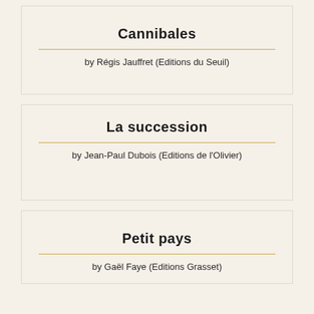Cannibales
by Régis Jauffret (Editions du Seuil)
La succession
by Jean-Paul Dubois (Editions de l'Olivier)
Petit pays
by Gaël Faye (Editions Grasset)